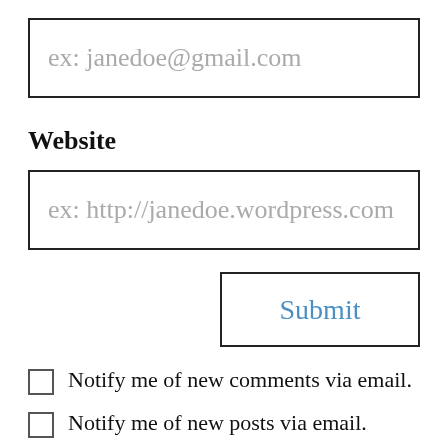ex: janedoe@gmail.com
Website
ex: http://janedoe.wordpress.com
Submit
Notify me of new comments via email.
Notify me of new posts via email.